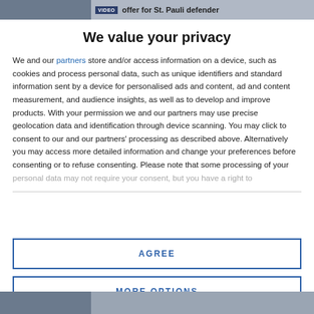[Figure (screenshot): Top strip showing partial news article image and headline 'offer for St. Pauli defender']
We value your privacy
We and our partners store and/or access information on a device, such as cookies and process personal data, such as unique identifiers and standard information sent by a device for personalised ads and content, ad and content measurement, and audience insights, as well as to develop and improve products. With your permission we and our partners may use precise geolocation data and identification through device scanning. You may click to consent to our and our partners' processing as described above. Alternatively you may access more detailed information and change your preferences before consenting or to refuse consenting. Please note that some processing of your personal data may not require your consent, but you have a right to
AGREE
MORE OPTIONS
[Figure (screenshot): Bottom strip showing partial news article image]